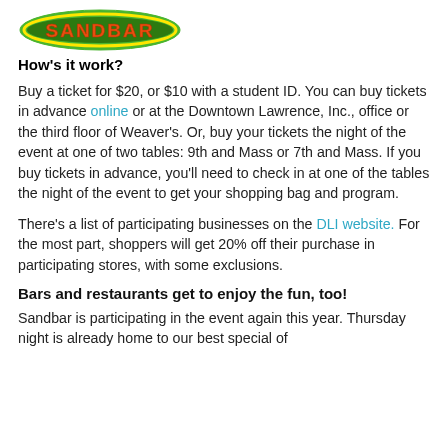[Figure (logo): Sandbar logo — green oval with orange/red text SANDBAR and yellow border]
How's it work?
Buy a ticket for $20, or $10 with a student ID. You can buy tickets in advance online or at the Downtown Lawrence, Inc., office or the third floor of Weaver's. Or, buy your tickets the night of the event at one of two tables: 9th and Mass or 7th and Mass. If you buy tickets in advance, you'll need to check in at one of the tables the night of the event to get your shopping bag and program.
There's a list of participating businesses on the DLI website. For the most part, shoppers will get 20% off their purchase in participating stores, with some exclusions.
Bars and restaurants get to enjoy the fun, too!
Sandbar is participating in the event again this year. Thursday night is already home to our best special of